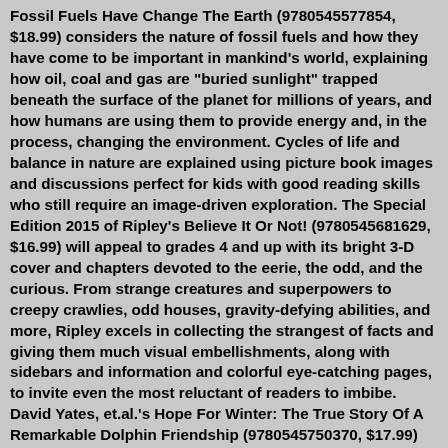Fossil Fuels Have Change The Earth (9780545577854, $18.99) considers the nature of fossil fuels and how they have come to be important in mankind's world, explaining how oil, coal and gas are "buried sunlight" trapped beneath the surface of the planet for millions of years, and how humans are using them to provide energy and, in the process, changing the environment. Cycles of life and balance in nature are explained using picture book images and discussions perfect for kids with good reading skills who still require an image-driven exploration. The Special Edition 2015 of Ripley's Believe It Or Not! (9780545681629, $16.99) will appeal to grades 4 and up with its bright 3-D cover and chapters devoted to the eerie, the odd, and the curious. From strange creatures and superpowers to creepy crawlies, odd houses, gravity-defying abilities, and more, Ripley excels in collecting the strangest of facts and giving them much visual embellishments, along with sidebars and information and colorful eye-catching pages, to invite even the most reluctant of readers to imbibe. David Yates, et.al.'s Hope For Winter: The True Story Of A Remarkable Dolphin Friendship (9780545750370, $17.99) tells of Winter, a famous dolphin who learned to swim again after receiving a prosthetic tail. Her recovery was amazing, but that didn't end the story: fans learn of what happens when her longtime, aging dolphin friend Panama faces changes. The efforts of the Clearwater Marine team and their involvement with dolphins makes for a